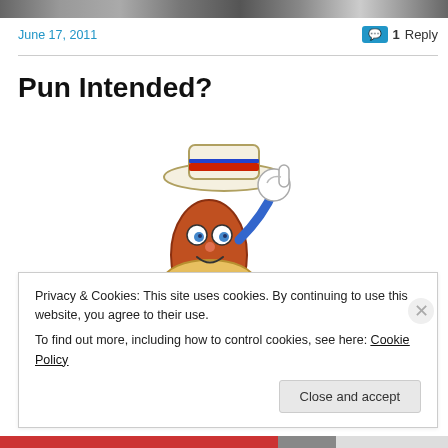[Figure (photo): Top strip showing partial image (dark/gray strip at top of page)]
June 17, 2011
1 Reply
Pun Intended?
[Figure (illustration): A cartoon hot dog character wearing a straw boater hat with a red stripe, giving a thumbs up with a blue gloved hand, with cartoon eyes and a smile]
Privacy & Cookies: This site uses cookies. By continuing to use this website, you agree to their use.
To find out more, including how to control cookies, see here: Cookie Policy
Close and accept